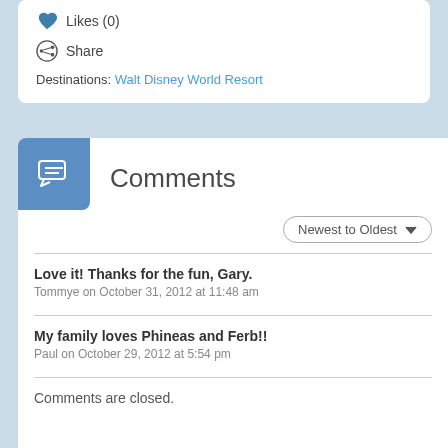Likes (0)
Share
Destinations: Walt Disney World Resort
Comments
Newest to Oldest
Love it! Thanks for the fun, Gary.
Tommye on October 31, 2012 at 11:48 am
My family loves Phineas and Ferb!!
Paul on October 29, 2012 at 5:54 pm
Comments are closed.